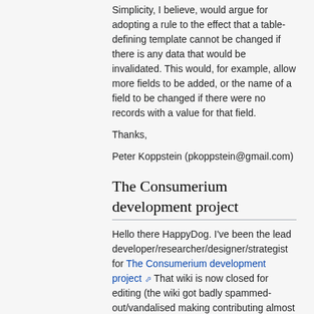Simplicity, I believe, would argue for adopting a rule to the effect that a table-defining template cannot be changed if there is any data that would be invalidated. This would, for example, allow more fields to be added, or the name of a field to be changed if there were no records with a value for that field.
Thanks,
Peter Koppstein (pkoppstein@gmail.com)
The Consumerium development project
Hello there HappyDog. I've been the lead developer/researcher/designer/strategist for The Consumerium development project That wiki is now closed for editing (the wiki got badly spammed-out/vandalised making contributing almost impossible. Also internal incoherence reached a level due to many changes in the design paradigm that effectively obstructed making sense. But the work continues now in http://en.consumeria.info/wiki/ (Which is an